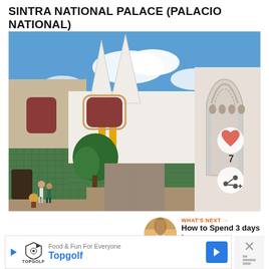SINTRA NATIONAL PALACE (PALACIO NATIONAL)
[Figure (photo): Courtyard of Sintra National Palace showing the distinctive twin conical chimneys rising above white Moorish-style buildings, with colorful azulejo tile details, yellow columns, lush tree, and ornate arched doorway. Visitors visible in the foreground. Heart/like button (7) and share button overlay on the right side.]
WHAT'S NEXT → How to Spend 3 days in...
[Figure (photo): Small circular thumbnail showing a street scene, linked to 'How to Spend 3 days in...' article.]
Food & Fun For Everyone
Topgolf